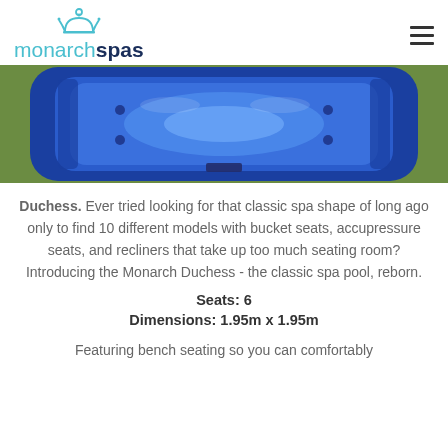monarch spas
[Figure (photo): Aerial/top-down view of a blue hot tub spa (Duchess model) with blue water and bench seating visible]
Duchess. Ever tried looking for that classic spa shape of long ago only to find 10 different models with bucket seats, accupressure seats, and recliners that take up too much seating room? Introducing the Monarch Duchess - the classic spa pool, reborn.
Seats: 6
Dimensions: 1.95m x 1.95m
Featuring bench seating so you can comfortably